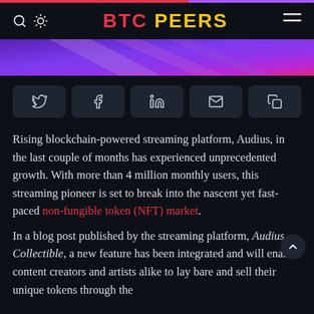BTC PEERS
[Figure (illustration): Purple and magenta gradient hero image with abstract X shape]
[Figure (infographic): Social sharing buttons: Twitter, Facebook, LinkedIn, Email, Copy]
Rising blockchain-powered streaming platform, Audius, in the last couple of months has experienced unprecedented growth. With more than 4 million monthly users, this streaming pioneer is set to break into the nascent yet fast-paced non-fungible token (NFT) market.
In a blog post published by the streaming platform, Audius Collectible, a new feature has been integrated and will enable content creators and artists alike to lay bare and sell their unique tokens through the